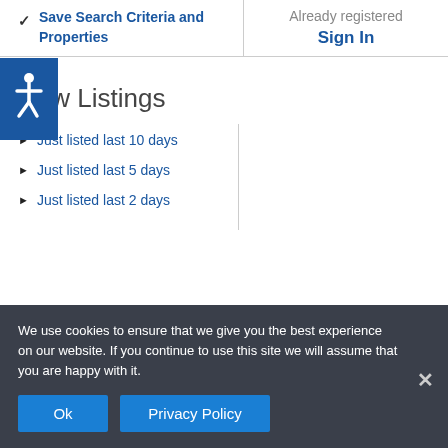Save Search Criteria and Properties
Already registered
Sign In
[Figure (other): Blue accessibility wheelchair icon button]
New Listings
Just listed last 10 days
Just listed last 5 days
Just listed last 2 days
We use cookies to ensure that we give you the best experience on our website. If you continue to use this site we will assume that you are happy with it.
Ok
Privacy Policy